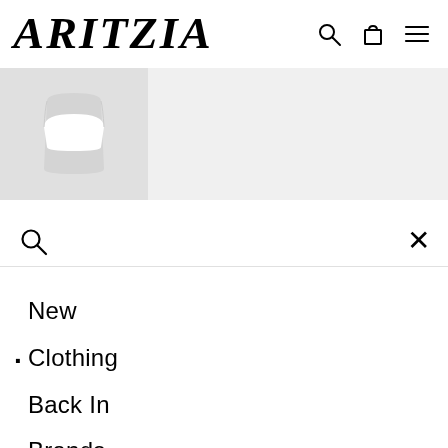ARITZIA
[Figure (photo): Partial view of a white cropped top/bandeau on a mannequin torso, shown against a light gray background]
🔍 ×
New
· Clothing
Back In
Brands
Stories